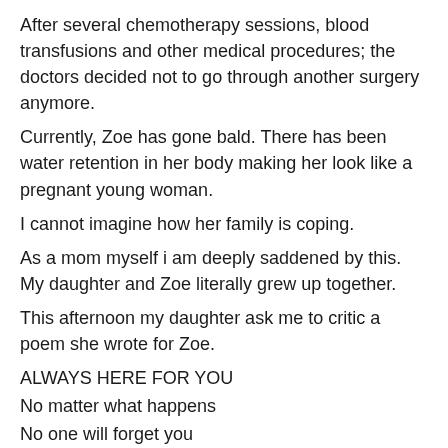After several chemotherapy sessions, blood transfusions and other medical procedures; the doctors decided not to go through another surgery anymore.
Currently, Zoe has gone bald. There has been water retention in her body making her look like a pregnant young woman.
I cannot imagine how her family is coping.
As a mom myself i am deeply saddened by this. My daughter and Zoe literally grew up together.
This afternoon my daughter ask me to critic a poem she wrote for Zoe.
ALWAYS HERE FOR YOU
No matter what happens
No one will forget you
No...
View original post 146 more words